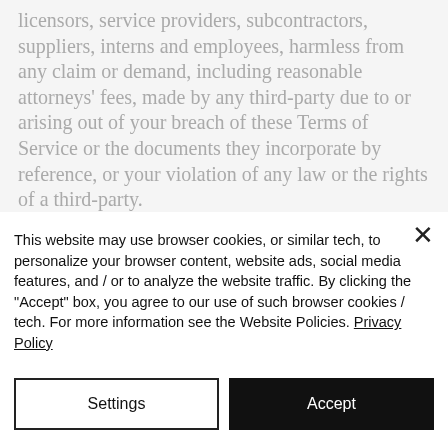licensors, service providers, subcontractors, suppliers, interns and employees, harmless from any claim or demand, including reasonable attorneys' fees, made by any third-party due to or arising out of your breach of these Terms of Service or the documents they incorporate by reference, or your violation of any law or the rights of a third-party.
This website may use browser cookies, or similar tech, to personalize your browser content, website ads, social media features, and / or to analyze the website traffic. By clicking the "Accept" box, you agree to our use of such browser cookies / tech. For more information see the Website Policies. Privacy Policy